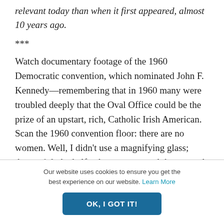relevant today than when it first appeared, almost 10 years ago.
***
Watch documentary footage of the 1960 Democratic convention, which nominated John F. Kennedy—remembering that in 1960 many were troubled deeply that the Oval Office could be the prize of an upstart, rich, Catholic Irish American. Scan the 1960 convention floor: there are no women. Well, I didn't use a magnifying glass; there might be half a dozen, so amend that to read:
Our website uses cookies to ensure you get the best experience on our website. Learn More
OK, I GOT IT!